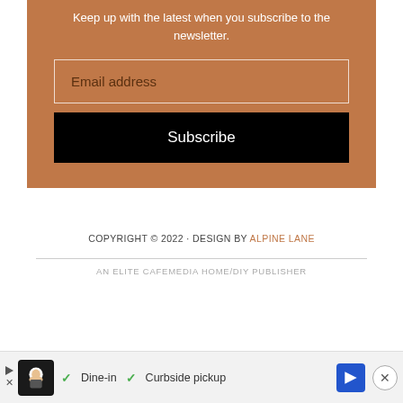Keep up with the latest when you subscribe to the newsletter.
Email address
Subscribe
COPYRIGHT © 2022 · DESIGN BY ALPINE LANE
AN ELITE CAFEMEDIA HOME/DIY PUBLISHER
[Figure (infographic): Advertisement bar at bottom: play arrow icon, X close, logo image of chef character, checkmarks for Dine-in and Curbside pickup, blue navigation arrow icon, close button]